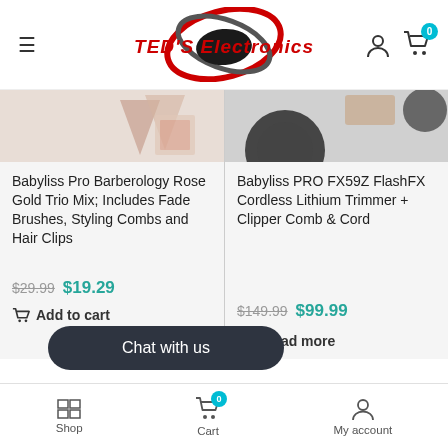TED'S Electronics
[Figure (screenshot): Product image partial view for Babyliss Pro Barberology Rose Gold Trio Mix]
[Figure (screenshot): Product image partial view for Babyliss PRO FX59Z FlashFX Cordless Lithium Trimmer]
Babyliss Pro Barberology Rose Gold Trio Mix; Includes Fade Brushes, Styling Combs and Hair Clips
Babyliss PRO FX59Z FlashFX Cordless Lithium Trimmer + Clipper Comb & Cord
$29.99 $19.29
$149.99 $99.99
Add to cart
Read more
Chat with us
Shop  Cart  My account